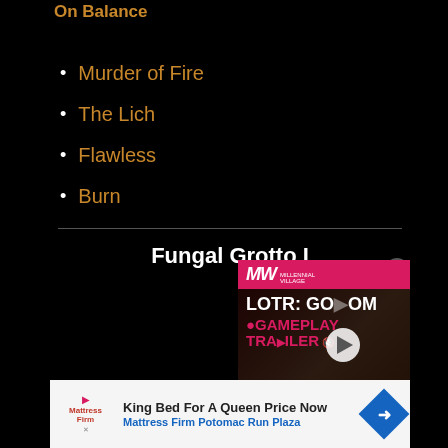On Balance
Murder of Fire
The Lich
Flawless
Burn
Fungal Grotto I
[Figure (screenshot): Video ad overlay for LOTR: GOLLUM Gameplay Trailer with MW logo on pink banner, play button, and character image]
[Figure (screenshot): Bottom banner advertisement: King Bed For A Queen Price Now, Mattress Firm Potomac Run Plaza]